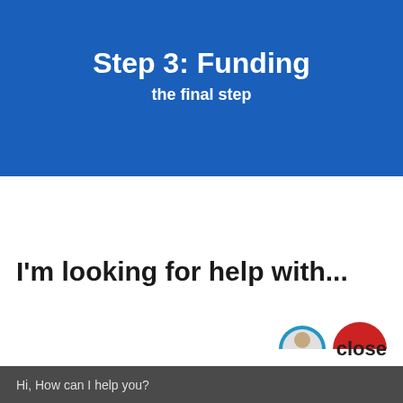Step 3: Funding
the final step
I'm looking for help with...
[Figure (illustration): Two partially visible circular avatar icons — one with a blue border showing a person's face, and one solid red semicircle — peeking up from the bottom of the white section]
close
Hi, How can I help you?